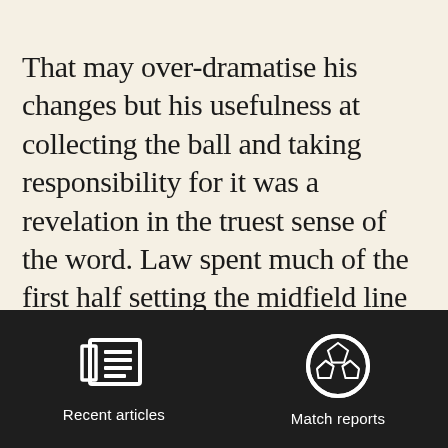That may over-dramatise his changes but his usefulness at collecting the ball and taking responsibility for it was a revelation in the truest sense of the word. Law spent much of the first half setting the midfield line and controlling the distance between himself and wingers Filipe Morais and Mark Marshall. He plundered the occasional shot at goal too as did Hi...
[Figure (illustration): Dark footer bar with two navigation icons: a newspaper/articles icon on the left labeled 'Recent articles', and a soccer ball icon on the right labeled 'Match reports']